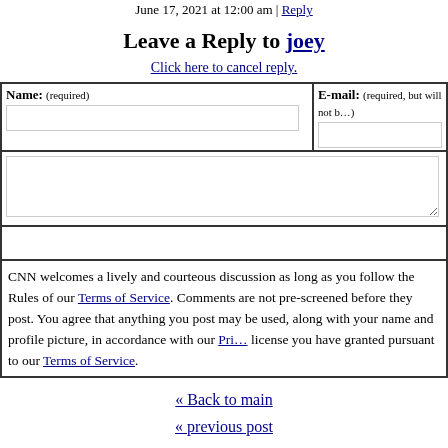June 17, 2021 at 12:00 am | Reply
Leave a Reply to joey
Click here to cancel reply.
| Name: (required) | E-mail: (required, but will not be published) |
| --- | --- |
|  |
CNN welcomes a lively and courteous discussion as long as you follow the Rules of our Terms of Service. Comments are not pre-screened before they post. You agree that anything you post may be used, along with your name and profile picture, in accordance with our Privacy Policy and the license you have granted pursuant to our Terms of Service.
« Back to main
« previous post
next post »
Showtimes